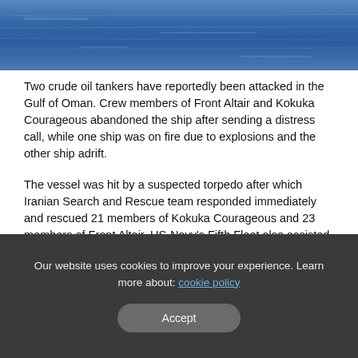[Figure (photo): Blue ocean/water surface photograph at the top of the page]
Two crude oil tankers have reportedly been attacked in the Gulf of Oman. Crew members of Front Altair and Kokuka Courageous abandoned the ship after sending a distress call, while one ship was on fire due to explosions and the other ship adrift.
The vessel was hit by a suspected torpedo after which Iranian Search and Rescue team responded immediately and rescued 21 members of Kokuka Courageous and 23 members of Front Altair. US-Navy's Fifth Fleet also assisted the rescue after receiving the distress calls. Out of the 23 rescued members of Altair, 11 were Russians, 11 were Filipinos and 1 was Georgian.
Our website uses cookies to improve your experience. Learn more about: cookie policy
Accept